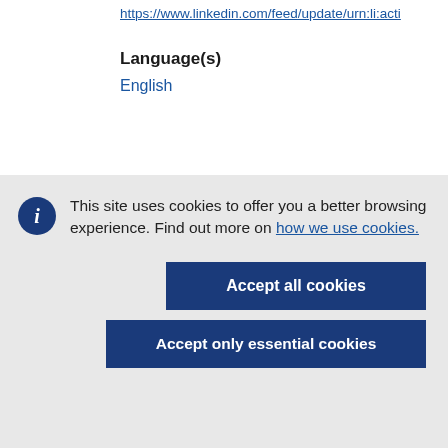https://www.linkedin.com/feed/update/urn:li:acti
Language(s)
English
This site uses cookies to offer you a better browsing experience. Find out more on how we use cookies.
Accept all cookies
Accept only essential cookies